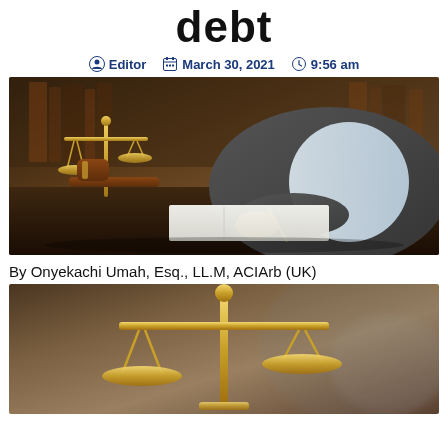debt
Editor  March 30, 2021  9:56 am
[Figure (photo): Photo of a lawyer or judge at a desk with a gavel, scales of justice, writing in a notebook]
By Onyekachi Umah, Esq., LL.M, ACIArb (UK)
[Figure (photo): Close-up photo of golden scales of justice on a blurred legal/courtroom background]